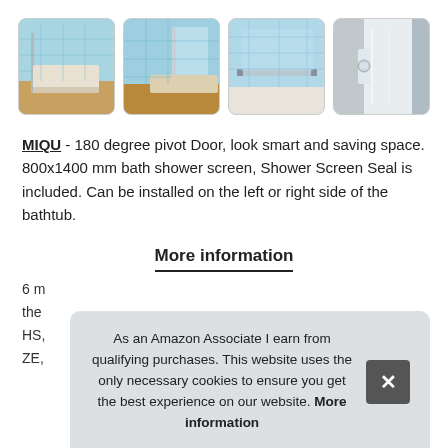[Figure (photo): Four product thumbnail images of a bath shower screen with blue tile backgrounds, showing different angles and installation views.]
MIQU - 180 degree pivot Door, look smart and saving space. 800x1400 mm bath shower screen, Shower Screen Seal is included. Can be installed on the left or right side of the bathtub.
More information
6 m...
the...
HS,...
ZE,...
As an Amazon Associate I earn from qualifying purchases. This website uses the only necessary cookies to ensure you get the best experience on our website. More information